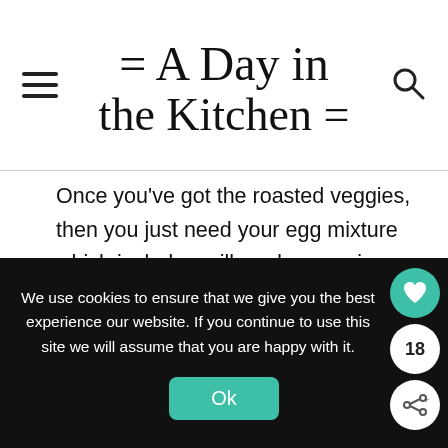= A Day in the Kitchen =
Once you've got the roasted veggies, then you just need your egg mixture which includes milk and seasonings. And cheese...gotta have your cheese.
[Figure (photo): Three side-by-side photos: yellow egg mixture in bowl, hands grating cheese, shredded cheese on dark vegetables with a green spatula]
We use cookies to ensure that we give you the best experience our website. If you continue to use this site we will assume that you are happy with it.